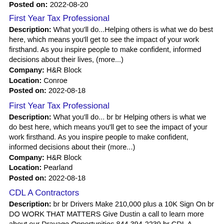Posted on: 2022-08-20
First Year Tax Professional
Description: What you'll do...Helping others is what we do best here, which means you'll get to see the impact of your work firsthand. As you inspire people to make confident, informed decisions about their lives, (more...)
Company: H&R Block
Location: Conroe
Posted on: 2022-08-18
First Year Tax Professional
Description: What you'll do... br br Helping others is what we do best here, which means you'll get to see the impact of your work firsthand. As you inspire people to make confident, informed decisions about their (more...)
Company: H&R Block
Location: Pearland
Posted on: 2022-08-18
CDL A Contractors
Description: br br Drivers Make 210,000 plus a 10K Sign On br DO WORK THAT MATTERS Give Dustin a call to learn more about our Drayage Opportunities 844 394-2239 br CDL A Owner Operators Lineage Logistics (more...)
Company: Lineage Logistics
Location: Missouri City
Posted on: 2022-08-13